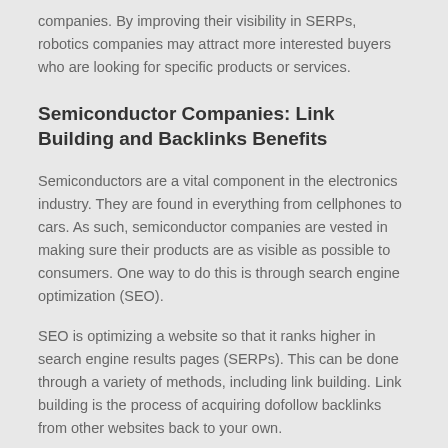companies. By improving their visibility in SERPs, robotics companies may attract more interested buyers who are looking for specific products or services.
Semiconductor Companies: Link Building and Backlinks Benefits
Semiconductors are a vital component in the electronics industry. They are found in everything from cellphones to cars. As such, semiconductor companies are vested in making sure their products are as visible as possible to consumers. One way to do this is through search engine optimization (SEO).
SEO is optimizing a website so that it ranks higher in search engine results pages (SERPs). This can be done through a variety of methods, including link building. Link building is the process of acquiring dofollow backlinks from other websites back to your own.
The benefits of SEO link building for semiconductor companies are numerous. First and foremost, it can help them increase